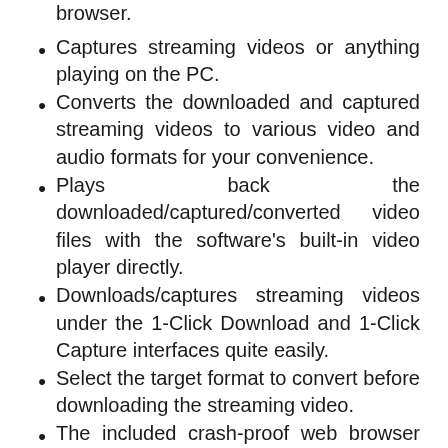browser.
Captures streaming videos or anything playing on the PC.
Converts the downloaded and captured streaming videos to various video and audio formats for your convenience.
Plays back the downloaded/captured/converted video files with the software’s built-in video player directly.
Downloads/captures streaming videos under the 1-Click Download and 1-Click Capture interfaces quite easily.
Select the target format to convert before downloading the streaming video.
The included crash-proof web browser supports for reopening closed web